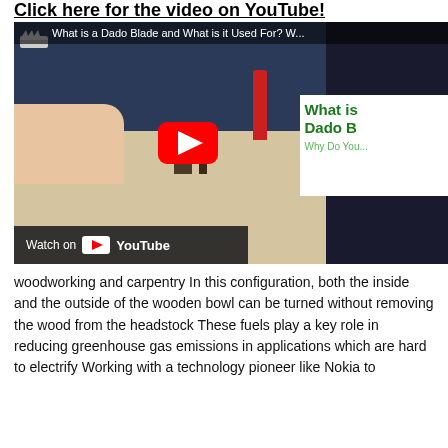Click here for the video on YouTube!
[Figure (screenshot): YouTube embedded video thumbnail showing a person demonstrating a dado blade cut in wood, with title overlay 'What is a Dado Blade and What is it Used For?' and a YouTube play button. A white card on the right shows partial text 'What is Dado B... Why Do You...' Bottom left shows 'Watch on YouTube' bar.]
woodworking and carpentry In this configuration, both the inside and the outside of the wooden bowl can be turned without removing the wood from the headstock These fuels play a key role in reducing greenhouse gas emissions in applications which are hard to electrify Working with a technology pioneer like Nokia to